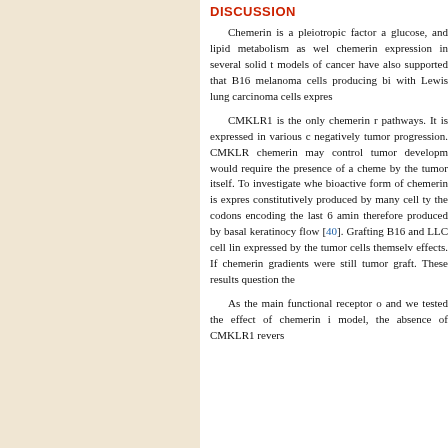DISCUSSION
Chemerin is a pleiotropic factor affecting energy, glucose, and lipid metabolism as well as immunity. Reduced chemerin expression in several solid tumors and mouse models of cancer have also supported an antitumor role, and that B16 melanoma cells producing bioactive chemerin, and with Lewis lung carcinoma cells expressing...
CMKLR1 is the only chemerin receptor for these pathways. It is expressed in various cell types and affects negatively tumor progression. CMKLR1 signaling through chemerin may control tumor development, but this mechanism would require the presence of a chemerin gradient produced by the tumor itself. To investigate whether the most bioactive form of chemerin is expressed — since prochemerin is constitutively produced by many cell types — we removed the codons encoding the last 6 amino acids of chemerin, therefore produced by basal keratinocytes and regulated by flow [40]. Grafting B16 and LLC cell lines showed chemerin expressed by the tumor cells themselves lost antitumor effects. If chemerin gradients were still present inside the tumor graft. These results question the...
As the main functional receptor of chemerin, CMKLR1, and we tested the effect of chemerin in the LLC tumor model, the absence of CMKLR1 reverses...